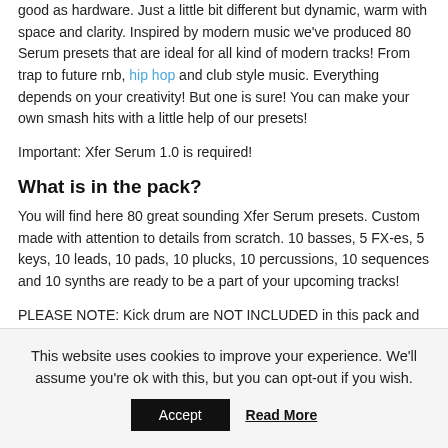good as hardware. Just a little bit different but dynamic, warm with space and clarity. Inspired by modern music we've produced 80 Serum presets that are ideal for all kind of modern tracks! From trap to future rnb, hip hop and club style music. Everything depends on your creativity! But one is sure! You can make your own smash hits with a little help of our presets!
Important: Xfer Serum 1.0 is required!
What is in the pack?
You will find here 80 great sounding Xfer Serum presets. Custom made with attention to details from scratch. 10 basses, 5 FX-es, 5 keys, 10 leads, 10 pads, 10 plucks, 10 percussions, 10 sequences and 10 synths are ready to be a part of your upcoming tracks!
PLEASE NOTE: Kick drum are NOT INCLUDED in this pack and were used in the MP3 Demo for demo purposes only! This pack contains only synthesizer Xfer Serum Presets.
This website uses cookies to improve your experience. We'll assume you're ok with this, but you can opt-out if you wish.